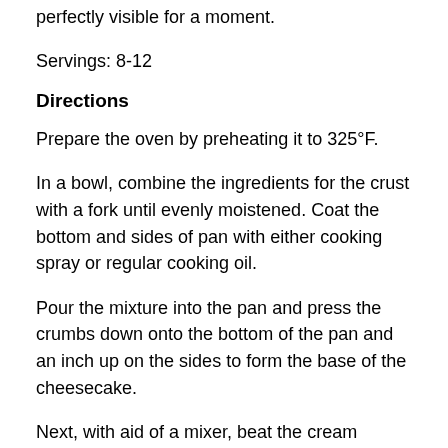perfectly visible for a moment.
Servings: 8-12
Directions
Prepare the oven by preheating it to 325°F.
In a bowl, combine the ingredients for the crust with a fork until evenly moistened. Coat the bottom and sides of pan with either cooking spray or regular cooking oil.
Pour the mixture into the pan and press the crumbs down onto the bottom of the pan and an inch up on the sides to form the base of the cheesecake.
Next, with aid of a mixer, beat the cream cheese with the vanilla extract for one minute until smooth.
On a separate bowl, add heavy cream and fold in...